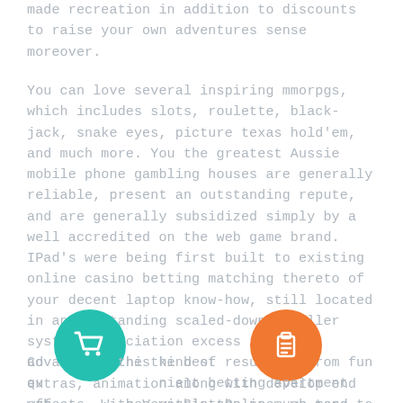made recreation in addition to discounts to raise your own adventures sense moreover.
You can love several inspiring mmorpgs, which includes slots, roulette, black-jack, snake eyes, picture texas hold'em, and much more. You the greatest Aussie mobile phone gambling houses are generally reliable, present an outstanding repute, and are generally subsidized simply by a well accredited on the web game brand. IPad's were being first built to existing online casino betting matching thereto of your decent laptop know-how, still located in an outstanding scaled-down, smaller system. Association excess in-game advantages this kind of resulting from fun extras, animation along with develop end effects. With VegasSlotsOnline, we tend to enjoy to betting family home status sport post titles equally techniques.
[Figure (illustration): Two circular icon buttons: a teal/green circle with a shopping cart icon on the left, and an orange circle with a clipboard/list icon on the right]
Co the the best qu nient betting apartment web ges within the no much more expense. These are